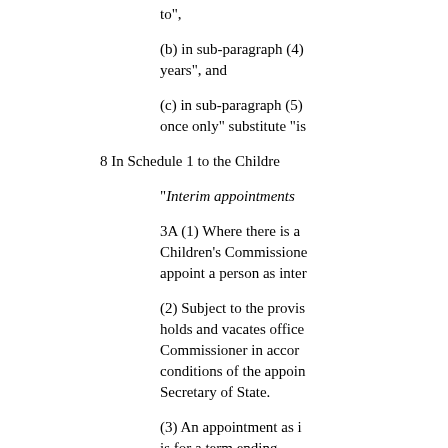to",
(b) in sub-paragraph (4) years", and
(c) in sub-paragraph (5) once only" substitute "is
8 In Schedule 1 to the Childre
"Interim appointments
3A (1) Where there is a Children's Commissioner appoint a person as inter
(2) Subject to the provis holds and vacates office Commissioner in accor conditions of the appoin Secretary of State.
(3) An appointment as i is for a term ending -
(a) with the appoi